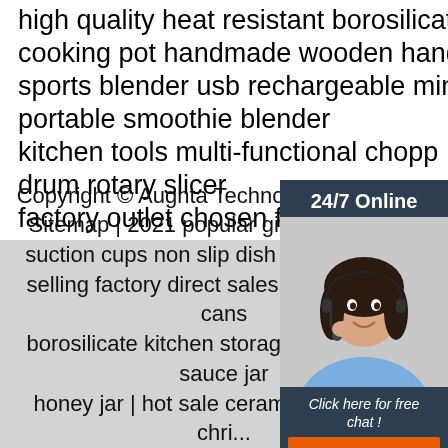high quality heat resistant borosilicate glass
cooking pot handmade wooden handle
sports blender usb rechargeable mini fruit juicer
portable smoothie blender
kitchen tools multi-functional chopper drum rotary slicer
factory outlet chosen food grade st
blender filter stainless steel new bl
[Figure (illustration): Customer service chat widget with woman wearing headset, '24/7 Online' header, 'Click here for free chat!' text and orange QUOTATION button]
Copyright © Aughta Technology (Shenzh... Sitemap | 2021 popular gift silicone ba... suction cups non slip dish manufacture... selling factory direct sales 250 ml sealed cans borosilicate kitchen storage glass jar soy sauce jar honey jar | hot sale ceramic bone white chri... butter dish plate dinnerware sets small dish restaurant